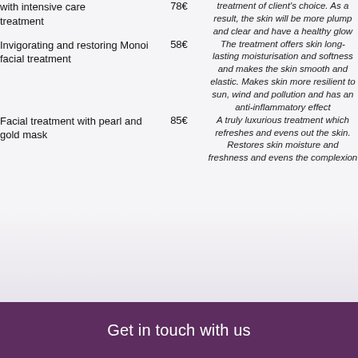| Service | Price | Description |
| --- | --- | --- |
| with intensive care treatment | 78€ | treatment of client's choice. As a result, the skin will be more plump and clear and have a healthy glow |
| Invigorating and restoring Monoi facial treatment | 58€ | The treatment offers skin long-lasting moisturisation and softness and makes the skin smooth and elastic. Makes skin more resilient to sun, wind and pollution and has an anti-inflammatory effect |
| Facial treatment with pearl and gold mask | 85€ | A truly luxurious treatment which refreshes and evens out the skin. Restores skin moisture and freshness and evens the complexion |
Get in touch with us